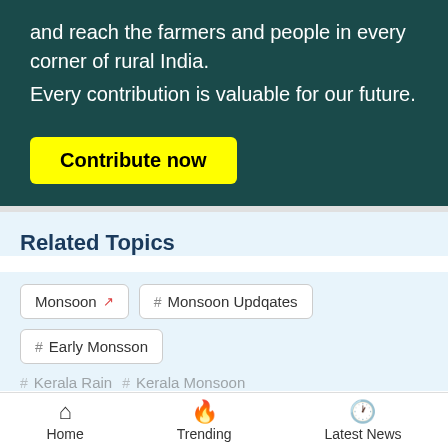and reach the farmers and people in every corner of rural India.
Every contribution is valuable for our future.
Contribute now
Related Topics
Monsoon
# Monsoon Updates
# Early Monsson
# Kerala Rain
# Kerala Monsoon
Read More
Tabøøla Feed
[Figure (photo): Dark photo strip of an unidentified scene]
Home  Trending  Latest News